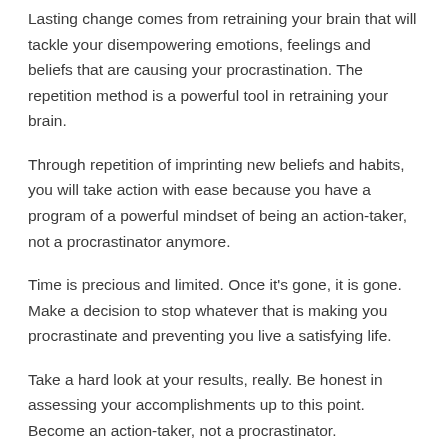Lasting change comes from retraining your brain that will tackle your disempowering emotions, feelings and beliefs that are causing your procrastination. The repetition method is a powerful tool in retraining your brain.
Through repetition of imprinting new beliefs and habits, you will take action with ease because you have a program of a powerful mindset of being an action-taker, not a procrastinator anymore.
Time is precious and limited. Once it's gone, it is gone. Make a decision to stop whatever that is making you procrastinate and preventing you live a satisfying life.
Take a hard look at your results, really. Be honest in assessing your accomplishments up to this point. Become an action-taker, not a procrastinator.
“Procrastination is like a credit card: it’s a lot of fun until you get the bill.” ~ Christopher Parker